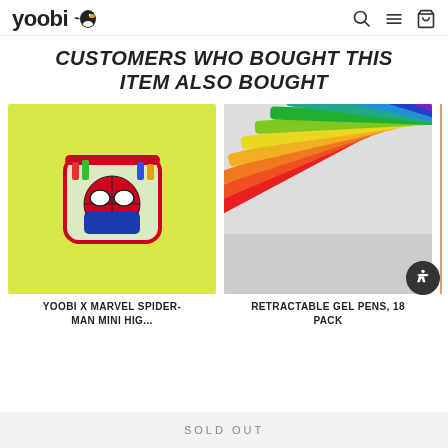yoobi [logo with bird icon] — search, menu, cart icons
CUSTOMERS WHO BOUGHT THIS ITEM ALSO BOUGHT
[Figure (photo): Yoobi x Marvel Spider-Man mini highlighter set in a clear pouch with red zipper on a yellow-green background]
YOOBI X MARVEL SPIDER-MAN MINI HIG...
[Figure (photo): Retractable gel pens 18 pack fanned out in a rainbow of colors on a gray background]
RETRACTABLE GEL PENS, 18 PACK
SOLD OUT